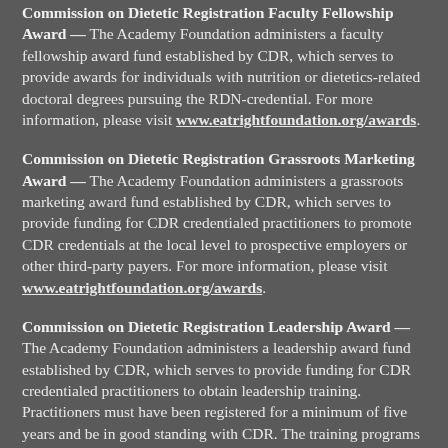Commission on Dietetic Registration Faculty Fellowship Award — The Academy Foundation administers a faculty fellowship award fund established by CDR, which serves to provide awards for individuals with nutrition or dietetics-related doctoral degrees pursuing the RDN-credential. For more information, please visit www.eatrightfoundation.org/awards.
Commission on Dietetic Registration Grassroots Marketing Award — The Academy Foundation administers a grassroots marketing award fund established by CDR, which serves to provide funding for CDR credentialed practitioners to promote CDR credentials at the local level to prospective employers or other third-party payers. For more information, please visit www.eatrightfoundation.org/awards.
Commission on Dietetic Registration Leadership Award — The Academy Foundation administers a leadership award fund established by CDR, which serves to provide funding for CDR credentialed practitioners to obtain leadership training. Practitioners must have been registered for a minimum of five years and be in good standing with CDR. The training programs should prepare